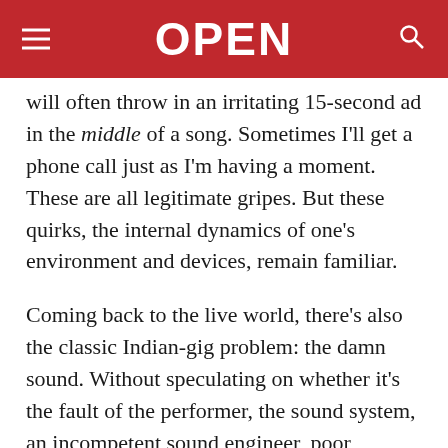OPEN
will often throw in an irritating 15-second ad in the middle of a song. Sometimes I'll get a phone call just as I'm having a moment. These are all legitimate gripes. But these quirks, the internal dynamics of one's environment and devices, remain familiar.
Coming back to the live world, there's also the classic Indian-gig problem: the damn sound. Without speculating on whether it's the fault of the performer, the sound system, an incompetent sound engineer, poor acoustics at the venue, or a mix of all of the above, so many gigs in this